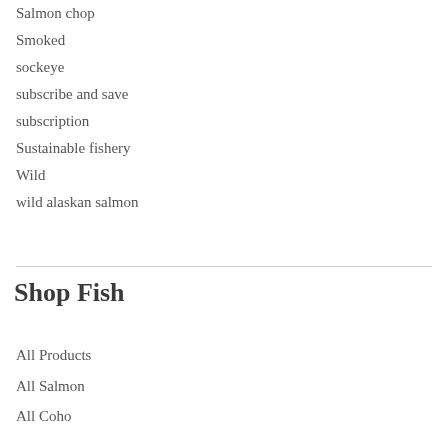Salmon chop
Smoked
sockeye
subscribe and save
subscription
Sustainable fishery
Wild
wild alaskan salmon
Shop Fish
All Products
All Salmon
All Coho